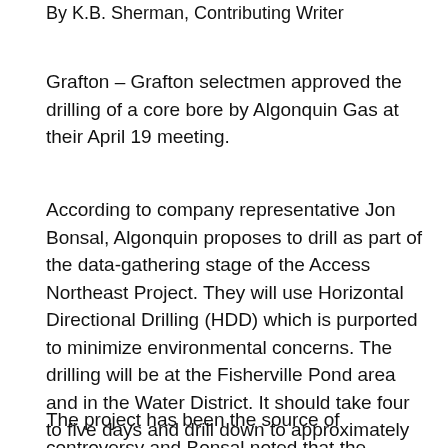By K.B. Sherman, Contributing Writer
Grafton – Grafton selectmen approved the drilling of a core bore by Algonquin Gas at their April 19 meeting.
According to company representative Jon Bonsal, Algonquin proposes to drill as part of the data-gathering stage of the Access Northeast Project. They will use Horizontal Directional Drilling (HDD) which is purported to minimize environmental concerns. The drilling will be at the Fisherville Pond area and in the Water District. It should take four to five days and drill down to approximately 120 feet. It will be off Pleasant Street and use paved roads to and from the site. Access rights through both private and town land have been obtained.
The project has been the source of controversy and Bonsal noted that the project had not yet received